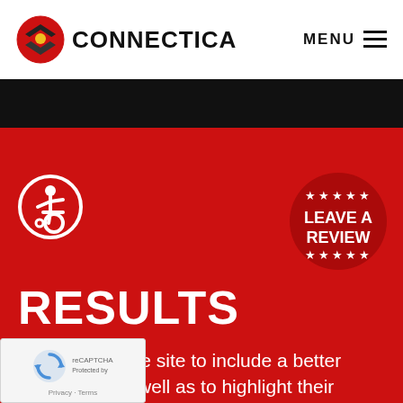CONNECTICA  MENU
[Figure (logo): Connectica logo with red and black layered diamond icon and yellow dot, next to CONNECTICA text in bold black]
[Figure (illustration): Wheelchair accessibility icon in white on red circle with white border]
[Figure (infographic): Round red badge with white stars and text LEAVE A REVIEW]
RESULTS
We updated the site to include a better structure as well as to highlight their services with dedicated pages to each